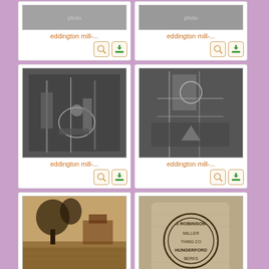[Figure (photo): Black and white historical photo of Eddington mill, partial view at top]
eddington mill-...
[Figure (photo): Black and white historical photo of Eddington mill, partial view at top]
eddington mill-...
[Figure (photo): Black and white interior photo of Eddington mill machinery]
eddington mill-...
[Figure (photo): Black and white interior photo of Eddington mill with wooden structures]
eddington mill-...
[Figure (photo): Sepia photo of Eddington mill exterior with trees and water reflection]
eddington mill ...
[Figure (photo): Photo of a flour sack stamped with J Robinson Miller, Hungerford]
IMG_3073